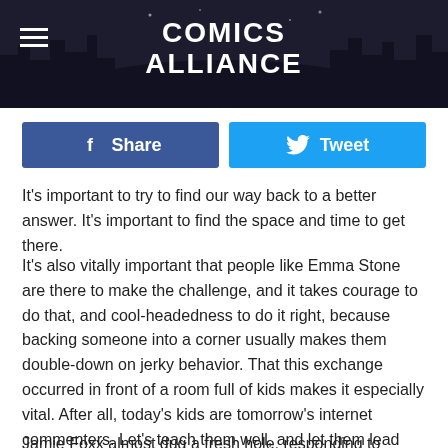Comics Alliance
Share   Tweet
It's important to try to find our way back to a better answer. It's important to find the space and time to get there.
It's also vitally important that people like Emma Stone are there to make the challenge, and it takes courage to do that, and cool-headedness to do it right, because backing someone into a corner usually makes them double-down on jerky behavior. That this exchange occurred in front of a room full of kids makes it especially vital. After all, today's kids are tomorrow's internet commenters. Let's teach them well, and let them lead the way.
Jamie Foxx almost dug a fresh hole, responding to Garfield's